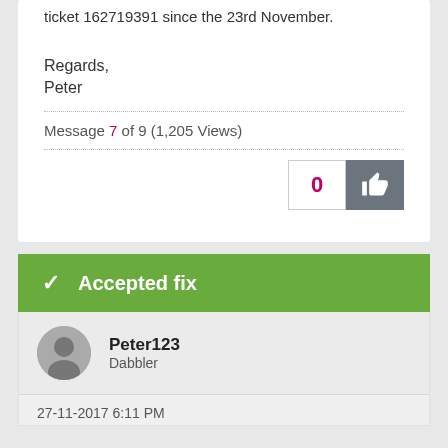ticket 162719391 since the 23rd November.
Regards,
Peter
Message 7 of 9 (1,205 Views)
[Figure (other): Like button with count 0 and thumbs up icon]
✓ Accepted fix
Peter123
Dabbler
27-11-2017 6:11 PM